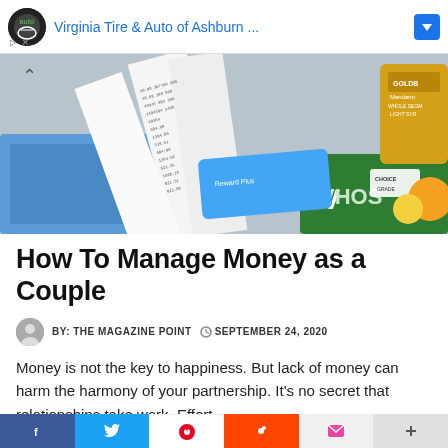Virginia Tire & Auto of Ashburn ...
[Figure (photo): Photo of grocery receipts and shopping items scattered on a surface, including canned goods and food packaging]
How To Manage Money as a Couple
BY: THE MAGAZINE POINT   SEPTEMBER 24, 2020
Money is not the key to happiness. But lack of money can harm the harmony of your partnership. It's no secret that relationships take work. Effort ...